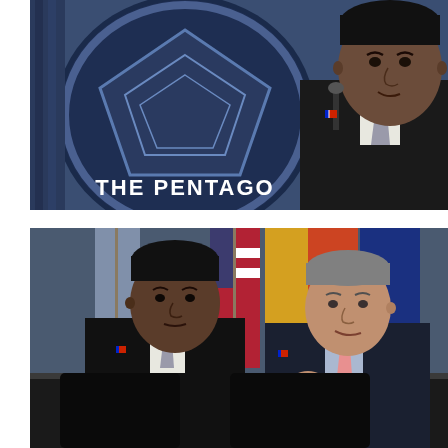[Figure (photo): President Barack Obama speaking at a podium in front of THE PENTAGON WASHINGTON sign/seal, wearing a dark suit with a gray tie and American flag pin. The Pentagon seal is prominently visible in the background.]
[Figure (photo): President Barack Obama (left) and Secretary of Defense Ash Carter (right) seated at a table in conversation, with multiple military service flags visible in the background including the American flag, Army, and other branch flags.]